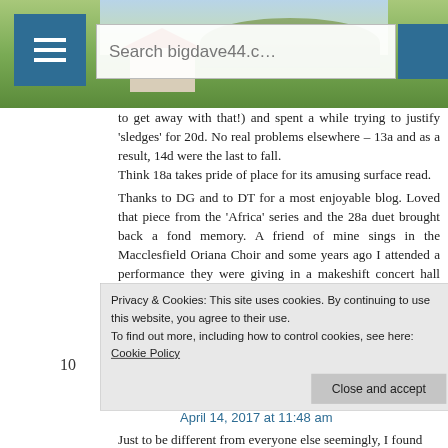Search bigdave44.c
to get away with that!) and spent a while trying to justify ‘sledges’ for 20d. No real problems elsewhere – 13a and as a result, 14d were the last to fall.
Think 18a takes pride of place for its amusing surface read.
Thanks to DG and to DT for a most enjoyable blog. Loved that piece from the ‘Africa’ series and the 28a duet brought back a fond memory. A friend of mine sings in the Macclesfield Oriana Choir and some years ago I attended a performance they were giving in a makeshift concert hall housed in the Mercedes car showroom on a nearby trading estate. The highlight of the evening was a performance of
Privacy & Cookies: This site uses cookies. By continuing to use this website, you agree to their use.
To find out more, including how to control cookies, see here: Cookie Policy
Close and accept
10
April 14, 2017 at 11:48 am
Just to be different from everyone else seemingly, I found